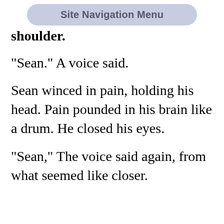Site Navigation Menu
shoulder.
"Sean." A voice said.
Sean winced in pain, holding his head. Pain pounded in his brain like a drum. He closed his eyes.
"Sean," The voice said again, from what seemed like closer.